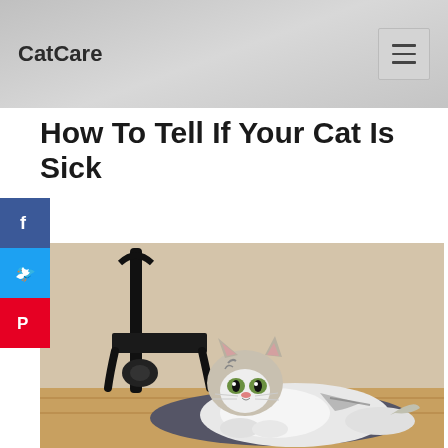CatCare
How To Tell If Your Cat Is Sick
[Figure (photo): A tabby and white cat lying on the floor in front of an ornate black chair, looking at the camera.]